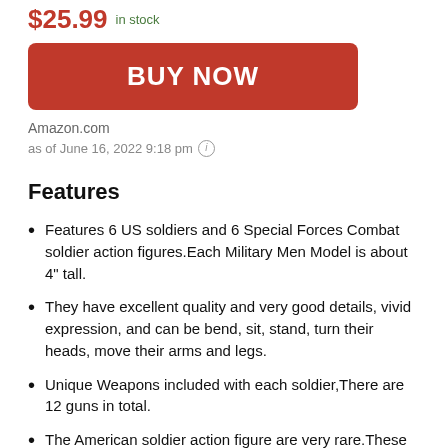$25.99 in stock
[Figure (other): Red BUY NOW button]
Amazon.com
as of June 16, 2022 9:18 pm ℹ
Features
Features 6 US soldiers and 6 Special Forces Combat soldier action figures.Each Military Men Model is about 4" tall.
They have excellent quality and very good details, vivid expression, and can be bend, sit, stand, turn their heads, move their arms and legs.
Unique Weapons included with each soldier,There are 12 guns in total.
The American soldier action figure are very rare.These